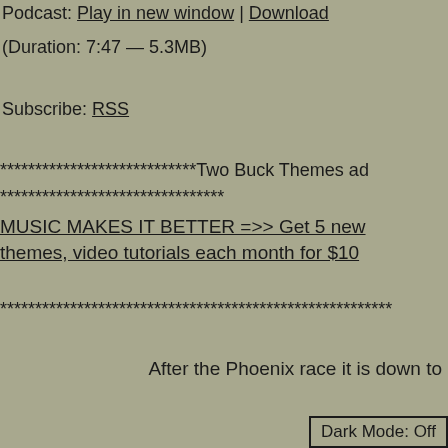Podcast: Play in new window | Download
(Duration: 7:47 — 5.3MB)
Subscribe: RSS
****************************Two Buck Themes ad
********************************
MUSIC MAKES IT BETTER =>> Get 5 new themes, video tutorials each month for $10
********************************************************
After the Phoenix race it is down to
Dark Mode: Off